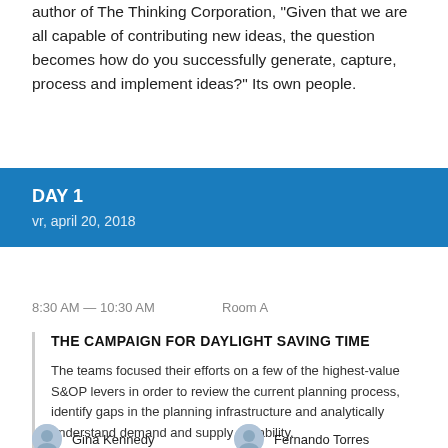author of The Thinking Corporation, “Given that we are all capable of contributing new ideas, the question becomes how do you successfully generate, capture, process and implement ideas?” Its own people.
DAY 1
vr, april 20, 2018
8:30 AM — 10:30 AM    Room A
THE CAMPAIGN FOR DAYLIGHT SAVING TIME
The teams focused their efforts on a few of the highest-value S&OP levers in order to review the current planning process, identify gaps in the planning infrastructure and analytically understand demand and supply variability.
Gina Kennedy   Fernando Torres